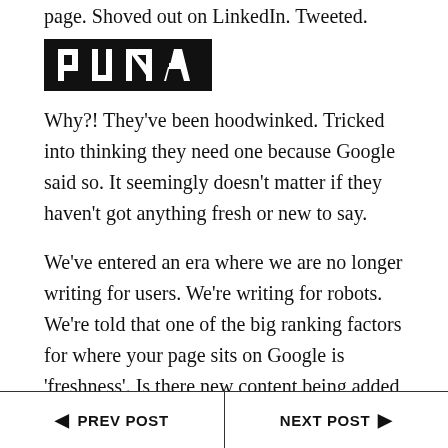page. Shoved out on LinkedIn. Tweeted.
[Figure (logo): PUMA logo — black rectangle with white geometric letters spelling PUMA]
Why?! They've been hoodwinked. Tricked into thinking they need one because Google said so. It seemingly doesn't matter if they haven't got anything fresh or new to say.
We've entered an era where we are no longer writing for users. We're writing for robots. We're told that one of the big ranking factors for where your page sits on Google is 'freshness'. Is there new content being added regularly? 'The frequency of posts can have a major effect on your position in
◄  PREV POST    NEXT POST  ►